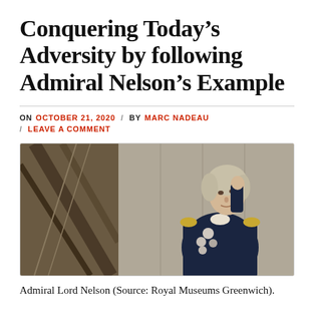Conquering Today’s Adversity by following Admiral Nelson’s Example
ON OCTOBER 21, 2020 / BY MARC NADEAU / LEAVE A COMMENT
[Figure (photo): Painting of Admiral Lord Nelson in naval uniform on the deck of a ship, hand raised to his chin in a thoughtful pose. Source: Royal Museums Greenwich.]
Admiral Lord Nelson (Source: Royal Museums Greenwich).